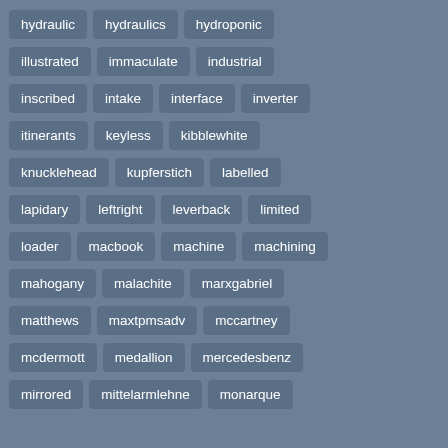hydraulic
hydraulics
hydroponic
illustrated
immaculate
industrial
inscribed
intake
interface
inverter
itinerants
keyless
kibblewhite
knucklehead
kupferstich
labelled
lapidary
leftright
leverback
limited
loader
macbook
machine
machining
mahogany
malachite
marxgabriel
matthews
maxtpmsadv
mccartney
mcdermott
medallion
mercedesbenz
mirrored
mittelarmlehne
monarque